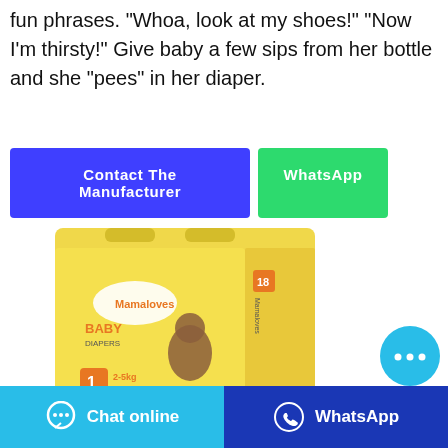fun phrases. "Whoa, look at my shoes!" "Now I'm thirsty!" Give baby a few sips from her bottle and she "pees" in her diaper.
[Figure (screenshot): Two call-to-action buttons: a blue 'Contact The Manufacturer' button and a green 'WhatsApp' button]
[Figure (photo): Mamaloves Baby Diapers product box, yellow packaging, size 1, 2-5kg, Unisex, 18 pieces, with image of smiling baby]
[Figure (other): Cyan circular chat bubble button with ellipsis icon]
[Figure (screenshot): Bottom bar with two buttons: cyan 'Chat online' button and dark blue 'WhatsApp' button]